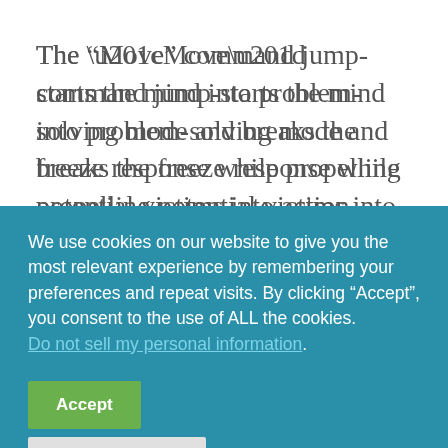The “Move” command jump-starts the mind into problem-solving mode and breaks the freeze response while propelling potential victims into action. After the feet start moving, the brain can then evaluate the appropriate response to the situation. The “Escape” command implies that the victim removes them from the area of danger using any action to increase the distance from the shooter. The “Escape” command consists of finding a temporary hiding place or fleeing the scene altogether. Psychologically, the
We use cookies on our website to give you the most relevant experience by remembering your preferences and repeat visits. By clicking “Accept”, you consent to the use of ALL the cookies. Do not sell my personal information.